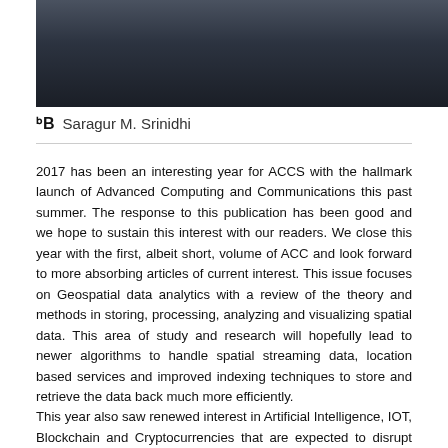[Figure (photo): Partial photo of a person wearing a dark jacket, cropped at the top of the page]
Saragur M. Srinidhi
2017 has been an interesting year for ACCS with the hallmark launch of Advanced Computing and Communications this past summer. The response to this publication has been good and we hope to sustain this interest with our readers. We close this year with the first, albeit short, volume of ACC and look forward to more absorbing articles of current interest. This issue focuses on Geospatial data analytics with a review of the theory and methods in storing, processing, analyzing and visualizing spatial data. This area of study and research will hopefully lead to newer algorithms to handle spatial streaming data, location based services and improved indexing techniques to store and retrieve the data back much more efficiently.
This year also saw renewed interest in Artificial Intelligence, IOT, Blockchain and Cryptocurrencies that are expected to disrupt and revolutionize industries. Blockchain became a mainstream term this year and saw a huge rally in Bitcoin this month. The Blockchain technology, on its own, has the potential for